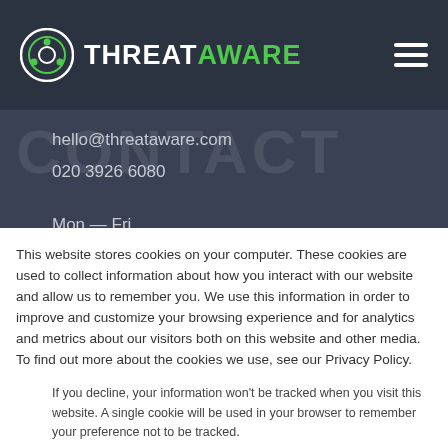ThreatAware logo and navigation
hello@threataware.com
020 3926 6080
Mon — Fri
9:00AM – 6:00PM
This website stores cookies on your computer. These cookies are used to collect information about how you interact with our website and allow us to remember you. We use this information in order to improve and customize your browsing experience and for analytics and metrics about our visitors both on this website and other media. To find out more about the cookies we use, see our Privacy Policy.
If you decline, your information won't be tracked when you visit this website. A single cookie will be used in your browser to remember your preference not to be tracked.